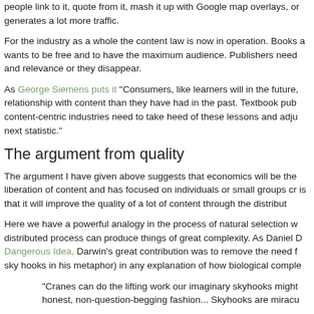people link to it, quote from it, mash it up with Google map overlays, or generates a lot more traffic.
For the industry as a whole the content law is now in operation. Books a wants to be free and to have the maximum audience. Publishers need and relevance or they disappear.
As George Siemens puts it "Consumers, like learners will in the future, relationship with content than they have had in the past. Textbook pub content-centric industries need to take heed of these lessons and adju next statistic."
The argument from quality
The argument I have given above suggests that economics will be the liberation of content and has focused on individuals or small groups cr is that it will improve the quality of a lot of content through the distribut
Here we have a powerful analogy in the process of natural selection w distributed process can produce things of great complexity. As Daniel D Dangerous Idea, Darwin's great contribution was to remove the need f sky hooks in his metaphor) in any explanation of how biological comple
"Cranes can do the lifting work our imaginary skyhooks might honest, non-question-begging fashion... Skyhooks are miracu